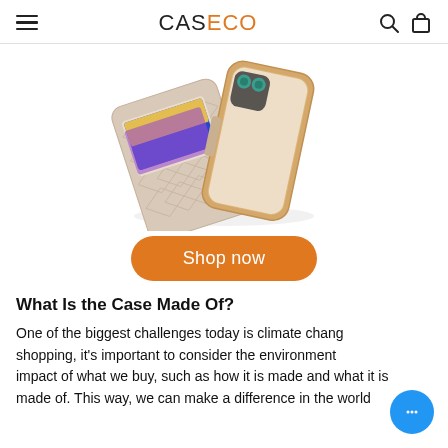CASECO
[Figure (photo): A beige geometric-patterned phone wallet case opened to show credit cards and an iPhone with a MagSafe charger attached.]
Shop now
What Is the Case Made Of?
One of the biggest challenges today is climate change. When shopping, it's important to consider the environmental impact of what we buy, such as how it is made and what it is made of. This way, we can make a difference in the world